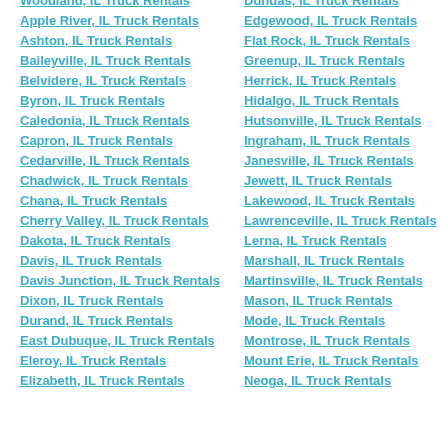Woodland, IL Truck Rentals
Apple River, IL Truck Rentals
Ashton, IL Truck Rentals
Baileyville, IL Truck Rentals
Belvidere, IL Truck Rentals
Byron, IL Truck Rentals
Caledonia, IL Truck Rentals
Capron, IL Truck Rentals
Cedarville, IL Truck Rentals
Chadwick, IL Truck Rentals
Chana, IL Truck Rentals
Cherry Valley, IL Truck Rentals
Dakota, IL Truck Rentals
Davis, IL Truck Rentals
Davis Junction, IL Truck Rentals
Dixon, IL Truck Rentals
Durand, IL Truck Rentals
East Dubuque, IL Truck Rentals
Eleroy, IL Truck Rentals
Elizabeth, IL Truck Rentals
Dundas, IL Truck Rentals
Edgewood, IL Truck Rentals
Flat Rock, IL Truck Rentals
Greenup, IL Truck Rentals
Herrick, IL Truck Rentals
Hidalgo, IL Truck Rentals
Hutsonville, IL Truck Rentals
Ingraham, IL Truck Rentals
Janesville, IL Truck Rentals
Jewett, IL Truck Rentals
Lakewood, IL Truck Rentals
Lawrenceville, IL Truck Rentals
Lerna, IL Truck Rentals
Marshall, IL Truck Rentals
Martinsville, IL Truck Rentals
Mason, IL Truck Rentals
Mode, IL Truck Rentals
Montrose, IL Truck Rentals
Mount Erie, IL Truck Rentals
Neoga, IL Truck Rentals